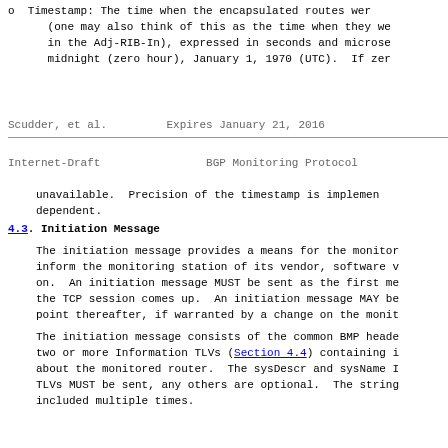o  Timestamp: The time when the encapsulated routes wer
      (one may also think of this as the time when they we
      in the Adj-RIB-In), expressed in seconds and microse
      midnight (zero hour), January 1, 1970 (UTC).  If zer
Scudder, et al.         Expires January 21, 2016
Internet-Draft                BGP Monitoring Protocol
unavailable.  Precision of the timestamp is implemen
   dependent.
4.3.  Initiation Message
The initiation message provides a means for the monitor
   inform the monitoring station of its vendor, software v
   on.  An initiation message MUST be sent as the first me
   the TCP session comes up.  An initiation message MAY be
   point thereafter, if warranted by a change on the monit
The initiation message consists of the common BMP heade
   two or more Information TLVs (Section 4.4) containing i
   about the monitored router.  The sysDescr and sysName I
   TLVs MUST be sent, any others are optional.  The string
   included multiple times.